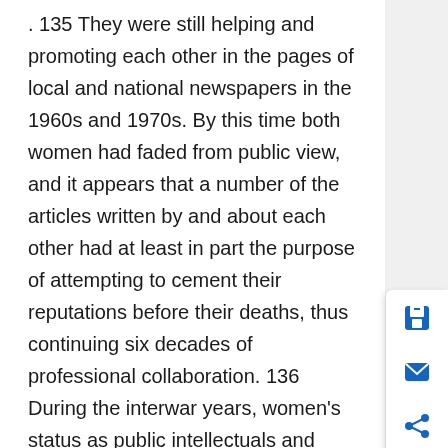. 135 They were still helping and promoting each other in the pages of local and national newspapers in the 1960s and 1970s. By this time both women had faded from public view, and it appears that a number of the articles written by and about each other had at least in part the purpose of attempting to cement their reputations before their deaths, thus continuing six decades of professional collaboration. 136 During the interwar years, women's status as public intellectuals and journalists was still highly contested and we have seen in this chapter how professional